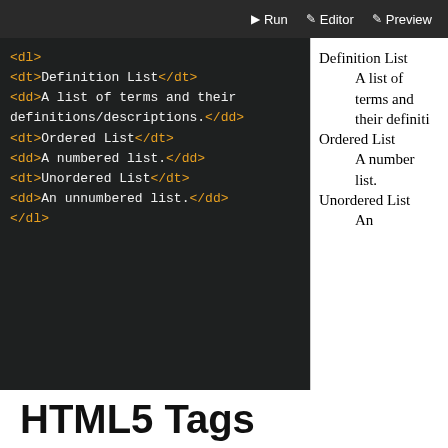[Figure (screenshot): Code editor screenshot showing HTML definition list code on the left (dark background) and a preview panel on the right (white background) rendering the definition list. The editor shows dl, dt, dd tags with orange/yellow syntax highlighting. The preview shows Definition List, Ordered List, and Unordered List terms with their definitions.]
HTML5 Tags